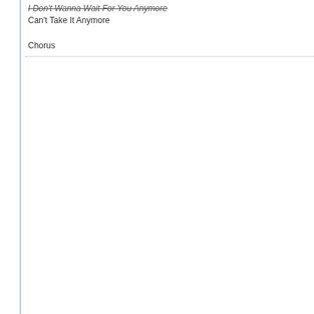I Don't Wanna Wait For You Anymore Can't Take It Anymore
Chorus